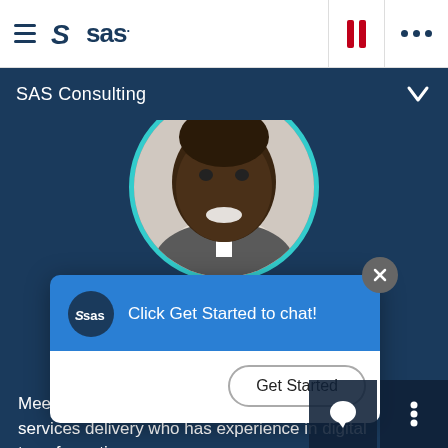[Figure (logo): SAS logo with hamburger menu in top navigation bar]
SAS Consulting
[Figure (photo): Profile photo of Alfred Mukudu, a senior manager for services delivery, shown in a circular frame with teal border]
Click Get Started to chat!
Get Started
Meet Alfred Mukudu, a senior manager for services delivery who has experience in digital transformation.